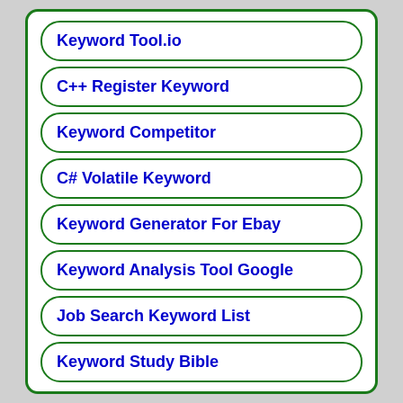Keyword Tool.io
C++ Register Keyword
Keyword Competitor
C# Volatile Keyword
Keyword Generator For Ebay
Keyword Analysis Tool Google
Job Search Keyword List
Keyword Study Bible